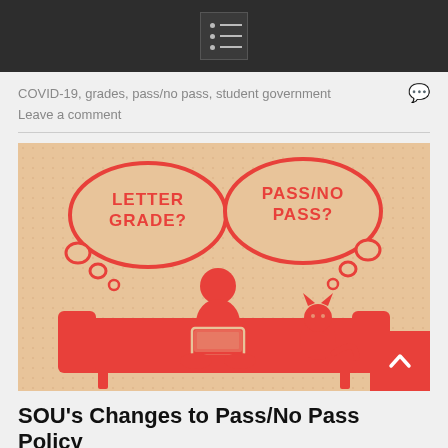menu icon / navigation bar
COVID-19, grades, pass/no pass, student government
Leave a comment
[Figure (illustration): Illustration on a tan/beige background showing a stick figure person sitting cross-legged on a sofa/couch with a laptop, with a cat sitting beside them. Two speech/thought bubbles read 'LETTER GRADE?' on the left and 'PASS/NO PASS?' on the right. All elements are in coral/red color.]
SOU's Changes to Pass/No Pass Policy